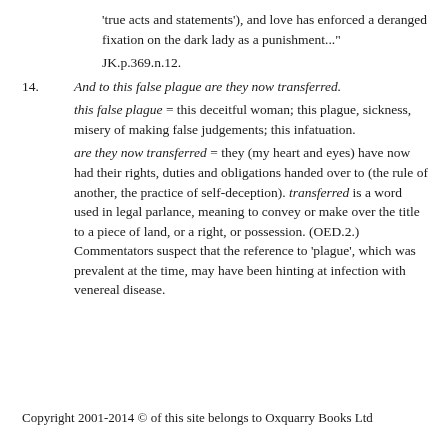'true acts and statements'), and love has enforced a deranged fixation on the dark lady as a punishment..." JK.p.369.n.12.
14. And to this false plague are they now transferred. this false plague = this deceitful woman; this plague, sickness, misery of making false judgements; this infatuation. are they now transferred = they (my heart and eyes) have now had their rights, duties and obligations handed over to (the rule of another, the practice of self-deception). transferred is a word used in legal parlance, meaning to convey or make over the title to a piece of land, or a right, or possession. (OED.2.) Commentators suspect that the reference to 'plague', which was prevalent at the time, may have been hinting at infection with venereal disease.
Copyright 2001-2014 © of this site belongs to Oxquarry Books Ltd